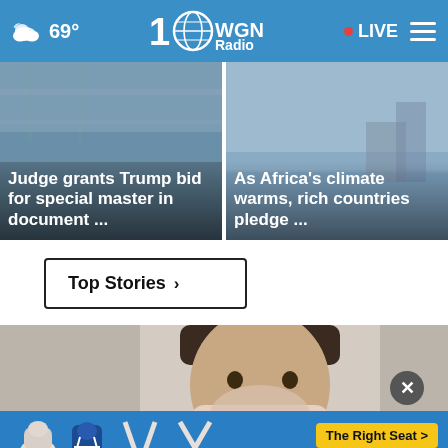69° WGN Radio LIVE
[Figure (photo): News thumbnail: Judge grants Trump bid for special master in document ...]
Judge grants Trump bid for special master in document ...
[Figure (photo): News thumbnail: As Africa's climate warms, rich countries pledge ...]
As Africa's climate warms, rich countries pledge ...
Top Stories ›
[Figure (photo): Photo of a person holding an object near their face, partially obscured]
[Figure (infographic): NHTSA advertisement banner: The Right Seat > with car seat icons]